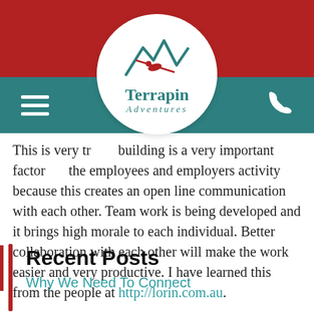[Figure (logo): Terrapin Adventures logo: circular white badge with mountain/zipline graphic in teal and red, text 'Terrapin Adventures' in teal serif font]
This is very true... building is a very important factor for the employees and employers activity because this creates an open line communication with each other. Team work is being developed and it brings high morale to each individual. Better collaboration with each other will make the work easier and very productive. I have learned this from the people at http://lorin.com.au.
Recent Posts
Why We Need To Connect